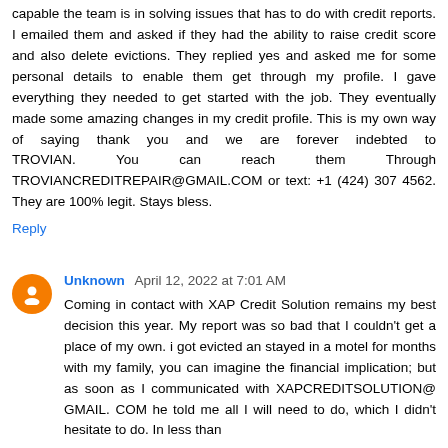capable the team is in solving issues that has to do with credit reports. I emailed them and asked if they had the ability to raise credit score and also delete evictions. They replied yes and asked me for some personal details to enable them get through my profile. I gave everything they needed to get started with the job. They eventually made some amazing changes in my credit profile. This is my own way of saying thank you and we are forever indebted to TROVIAN. You can reach them Through TROVIANCREDITREPAIR@GMAIL.COM or text: +1 (424) 307 4562. They are 100% legit. Stays bless.
Reply
Unknown  April 12, 2022 at 7:01 AM
Coming in contact with XAP Credit Solution remains my best decision this year. My report was so bad that I couldn't get a place of my own. i got evicted an stayed in a motel for months with my family, you can imagine the financial implication; but as soon as I communicated with XAPCREDITSOLUTION@ GMAIL. COM he told me all I will need to do, which I didn't hesitate to do. In less than